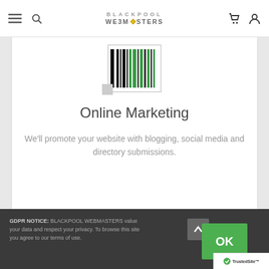BLACKPOOL WEBMASTERS — navigation bar with hamburger menu, search, cart, and account icons
[Figure (illustration): Online marketing barcode-style icon with vertical bars in black and green on a white card background]
Online Marketing
We'll promote your website with blogging, social media and directory submissions.
GDPR NOTICE: BLACKPOOL WEBMASTERS value your data and respect your privacy. To browse this site you agree to our terms of use.